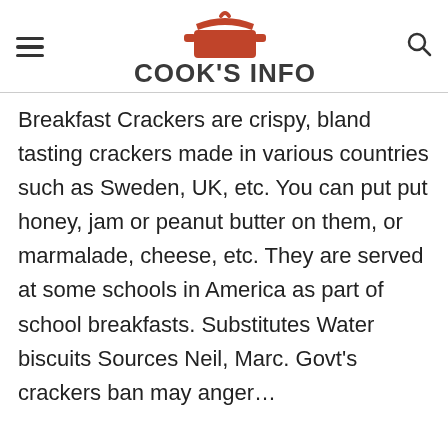COOK'S INFO
Breakfast Crackers are crispy, bland tasting crackers made in various countries such as Sweden, UK, etc. You can put put honey, jam or peanut butter on them, or marmalade, cheese, etc. They are served at some schools in America as part of school breakfasts. Substitutes Water biscuits Sources Neil, Marc. Govt’s crackers ban may anger...